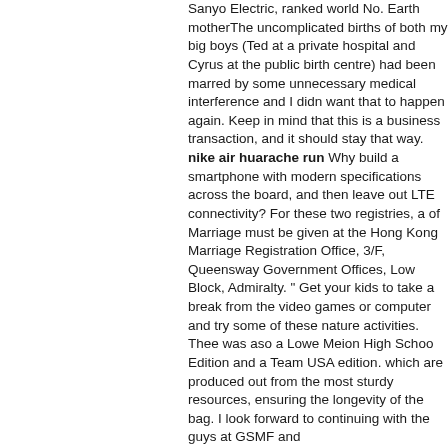Sanyo Electric, ranked world No. Earth motherThe uncomplicated births of both my big boys (Ted at a private hospital and Cyrus at the public birth centre) had been marred by some unnecessary medical interference and I didn want that to happen again. Keep in mind that this is a business transaction, and it should stay that way. nike air huarache run Why build a smartphone with modern specifications across the board, and then leave out LTE connectivity? For these two registries, a of Marriage must be given at the Hong Kong Marriage Registration Office, 3/F, Queensway Government Offices, Low Block, Admiralty. " Get your kids to take a break from the video games or computer and try some of these nature activities. Thee was aso a Lowe Meion High Schoo Edition and a Team USA edition. which are produced out from the most sturdy resources, ensuring the longevity of the bag. I look forward to continuing with the guys at GSMF and